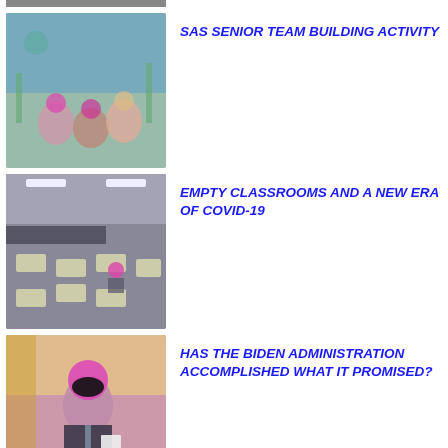[Figure (photo): Partial image at top of page, cropped]
[Figure (photo): Students at a team building activity outdoors on a field]
SAS SENIOR TEAM BUILDING ACTIVITY
[Figure (photo): Empty classroom with desks and computers]
EMPTY CLASSROOMS AND A NEW ERA OF COVID-19
[Figure (photo): President Biden wearing a mask holding papers in an office]
HAS THE BIDEN ADMINISTRATION ACCOMPLISHED WHAT IT PROMISED?
News
[Figure (photo): Police or military personnel near vehicles outdoors]
THE RELATION OF WORLDWIDE CRIMES TO THE PREFRONTAL CORTEX